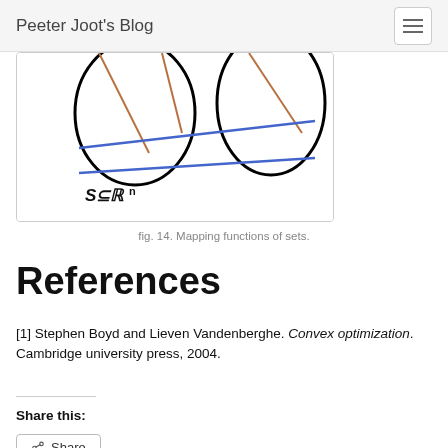Peeter Joot's Blog
[Figure (illustration): Partial view of a hand-drawn mathematical diagram showing two sets (ovals/circles) connected by lines including blue diagonal lines, labeled 'S⊆ℝⁿ' at the bottom.]
fig. 14. Mapping functions of sets.
References
[1] Stephen Boyd and Lieven Vandenberghe. Convex optimization. Cambridge university press, 2004.
Share this:
Share